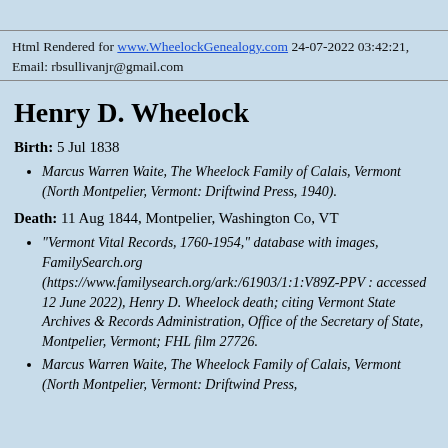Html Rendered for www.WheelockGenealogy.com 24-07-2022 03:42:21, Email: rbsullivanjr@gmail.com
Henry D. Wheelock
Birth: 5 Jul 1838
Marcus Warren Waite, The Wheelock Family of Calais, Vermont (North Montpelier, Vermont: Driftwind Press, 1940).
Death: 11 Aug 1844, Montpelier, Washington Co, VT
"Vermont Vital Records, 1760-1954," database with images, FamilySearch.org (https://www.familysearch.org/ark:/61903/1:1:V89Z-PPV : accessed 12 June 2022), Henry D. Wheelock death; citing Vermont State Archives & Records Administration, Office of the Secretary of State, Montpelier, Vermont; FHL film 27726.
Marcus Warren Waite, The Wheelock Family of Calais, Vermont (North Montpelier, Vermont: Driftwind Press,